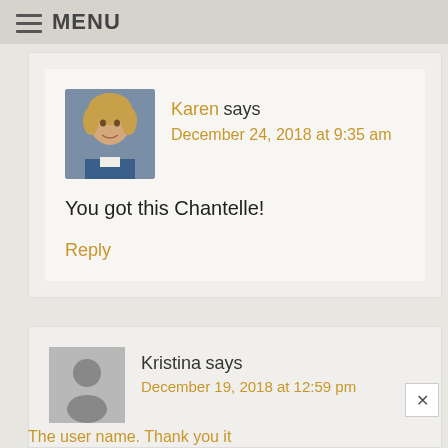MENU
Karen says
December 24, 2018 at 9:35 am

You got this Chantelle!

Reply
Kristina says
December 19, 2018 at 12:59 pm